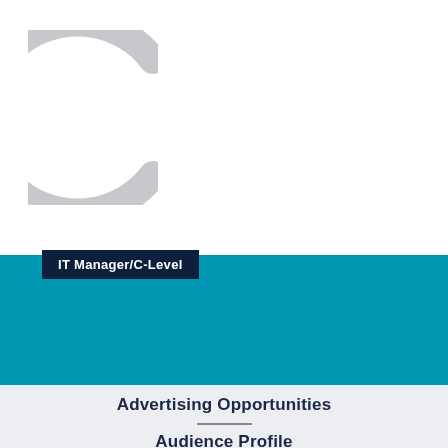[Figure (logo): Partial circle / letter C logo in light grey outline, top-left of page]
IT Manager/C-Level
Advertising Opportunities
Audience Profile